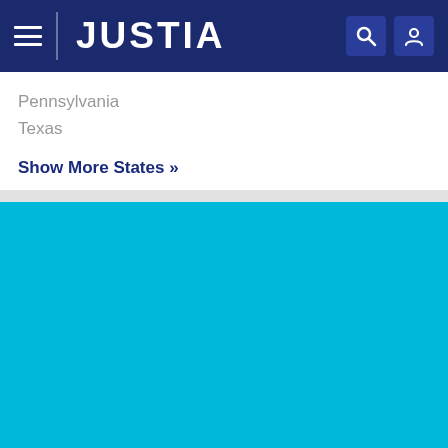JUSTIA
Pennsylvania
Texas
Show More States »
[Figure (other): Solid cyan/turquoise blue background section at bottom of page]